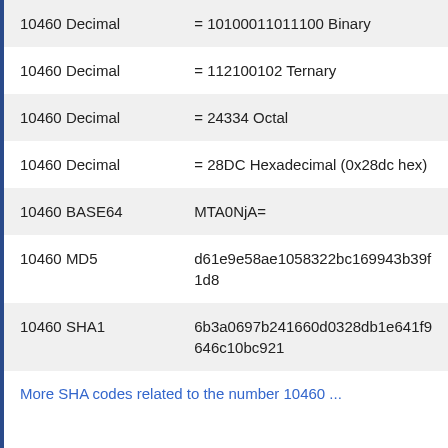| 10460 Decimal | = 10100011011100 Binary |
| 10460 Decimal | = 112100102 Ternary |
| 10460 Decimal | = 24334 Octal |
| 10460 Decimal | = 28DC Hexadecimal (0x28dc hex) |
| 10460 BASE64 | MTA0NjA= |
| 10460 MD5 | d61e9e58ae1058322bc169943b39f1d8 |
| 10460 SHA1 | 6b3a0697b241660d0328db1e641f9646c10bc921 |
More SHA codes related to the number 10460 ...